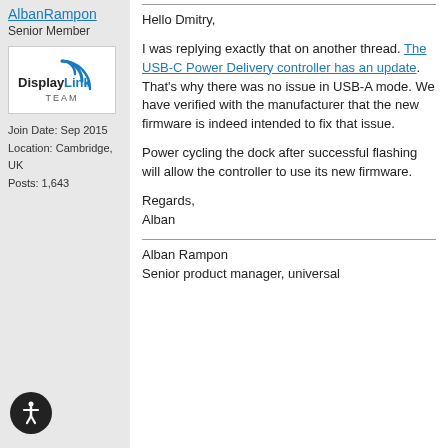AlbanRampon
Senior Member
[Figure (logo): DisplayLink TEAM logo — blue arc/wifi symbol above 'DisplayLink' text in black and blue, with 'TEAM' below in smaller text]
Join Date: Sep 2015
Location: Cambridge, UK
Posts: 1,643
Hello Dmitry,
I was replying exactly that on another thread. The USB-C Power Delivery controller has an update. That's why there was no issue in USB-A mode. We have verified with the manufacturer that the new firmware is indeed intended to fix that issue.
Power cycling the dock after successful flashing will allow the controller to use its new firmware.
Regards,
Alban
Alban Rampon
Senior product manager, universal